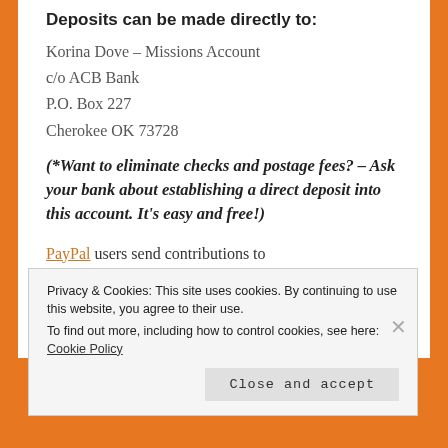Deposits can be made directly to:
Korina Dove – Missions Account
c/o ACB Bank
P.O. Box 227
Cherokee OK 73728
(*Want to eliminate checks and postage fees? – Ask your bank about establishing a direct deposit into this account. It's easy and free!)
PayPal users send contributions to okiepress@yahoo.com
Privacy & Cookies: This site uses cookies. By continuing to use this website, you agree to their use.
To find out more, including how to control cookies, see here: Cookie Policy
Close and accept